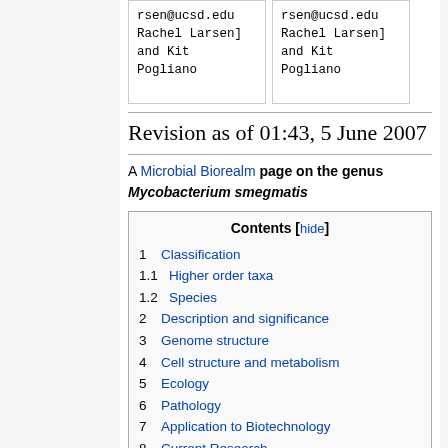rsen@ucsd.edu Rachel Larsen] and Kit Pogliano (appears twice in two card columns)
Revision as of 01:43, 5 June 2007
A Microbial Biorealm page on the genus Mycobacterium smegmatis
| # | Section |
| --- | --- |
| 1 | Classification |
| 1.1 | Higher order taxa |
| 1.2 | Species |
| 2 | Description and significance |
| 3 | Genome structure |
| 4 | Cell structure and metabolism |
| 5 | Ecology |
| 6 | Pathology |
| 7 | Application to Biotechnology |
| 8 | Current Research |
| 9 | References |